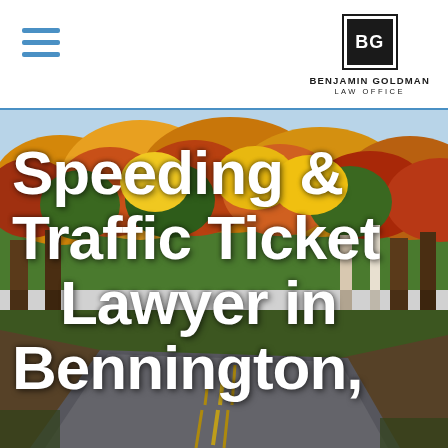[Figure (logo): Benjamin Goldman Law Office logo — BG initials in white on black square, with firm name below]
[Figure (photo): Autumn road scene with colorful fall foliage trees lining a winding road with yellow center line, viewed from road level]
Speeding & Traffic Ticket Lawyer in Bennington,